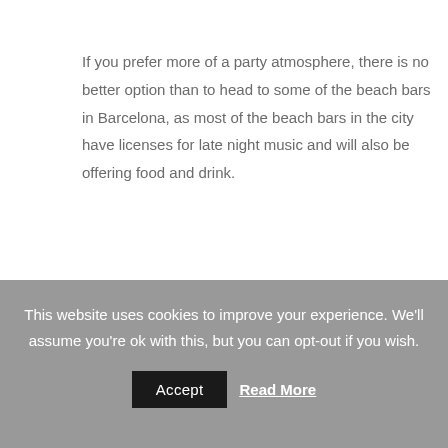If you prefer more of a party atmosphere, there is no better option than to head to some of the beach bars in Barcelona, as most of the beach bars in the city have licenses for late night music and will also be offering food and drink.
RESERVE YOUR ROOM AT OUR BOUTIQUE HOTEL IN BARCELONA
Have you already got an idea of how you're going to celebrate
This website uses cookies to improve your experience. We'll assume you're ok with this, but you can opt-out if you wish.